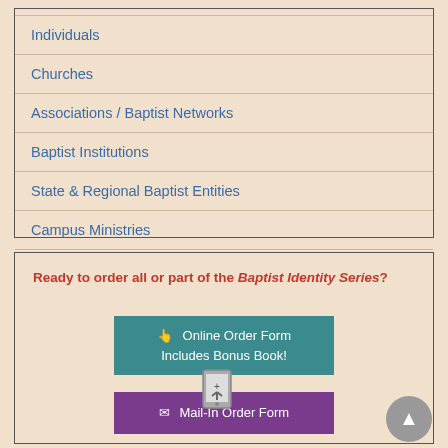Individuals
Churches
Associations / Baptist Networks
Baptist Institutions
State & Regional Baptist Entities
Campus Ministries
National & International Organizations
Ready to order all or part of the Baptist Identity Series?
[Figure (screenshot): Teal button: Online Order Form - Includes Bonus Book! with cursor icon]
[Figure (screenshot): Purple button: Mail-In Order Form with envelope icon, phone/tablet icon overlay]